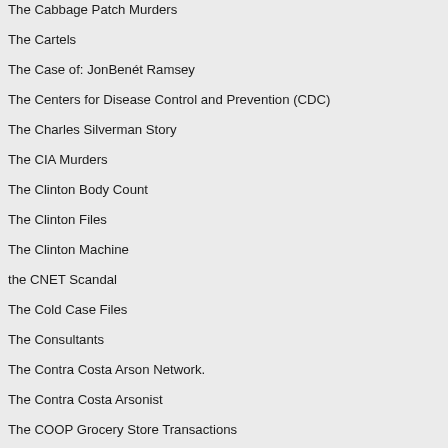The Cabbage Patch Murders
The Cartels
The Case of: JonBenét Ramsey
The Centers for Disease Control and Prevention (CDC)
The Charles Silverman Story
The CIA Murders
The Clinton Body Count
The Clinton Files
The Clinton Machine
the CNET Scandal
The Cold Case Files
The Consultants
The Contra Costa Arson Network.
The Contra Costa Arsonist
The COOP Grocery Store Transactions